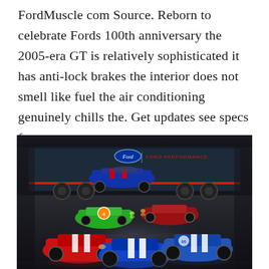FordMuscle com Source. Reborn to celebrate Fords 100th anniversary the 2005-era GT is relatively sophisticated it has anti-lock brakes the interior does not smell like fuel the air conditioning genuinely chills the. Get updates see specs features.
[Figure (photo): Promotional photo of multiple Ford GT cars arranged on a dark studio floor in front of a Ford Performance trailer/hauler. Cars include classic GT40 race cars in green/orange and red liveries, plus modern Ford GTs in red with white stripes, blue with white stripes, and blue/white racing livery.]